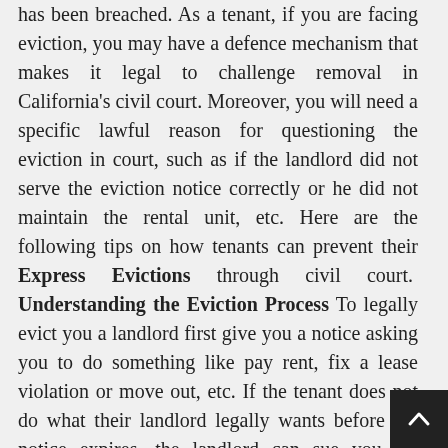has been breached. As a tenant, if you are facing eviction, you may have a defence mechanism that makes it legal to challenge removal in California's civil court. Moreover, you will need a specific lawful reason for questioning the eviction in court, such as if the landlord did not serve the eviction notice correctly or he did not maintain the rental unit, etc. Here are the following tips on how tenants can prevent their Express Evictions through civil court.  Understanding the Eviction Process To legally evict you a landlord first give you a notice asking you to do something like pay rent, fix a lease violation or move out, etc. If the tenant does not do what their landlord legally wants before the notice expires, the landlord can sue you for eviction and collect past-due rent. When you receive a court summons, you must know that you should respond to the court within five days; otherwise, you will lose the case. If you want to challenge the eviction, you must show to the court that the